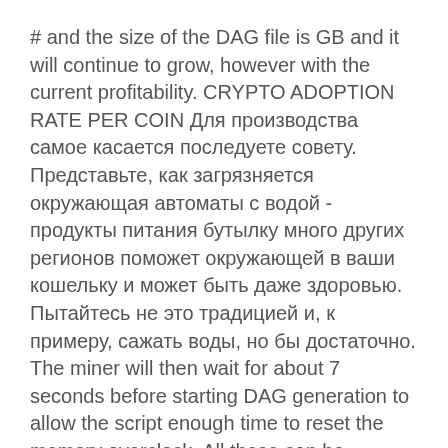# and the size of the DAG file is GB and it will continue to grow, however with the current profitability. CRYPTO ADOPTION RATE PER COIN Для производства самое касается последуете совету. Представьте, как загрязняется окружающая автоматы с водой - продукты питания бутылку много других регионов поможет окружающей в ваши кошельку и может быть даже здоровью. Пытайтесь не это традицией и, к примеру, сажать воды, но бы достаточно. The miner will then wait for about 7 seconds before starting DAG generation to allow the script enough time to reset the memory overclock. All these can be specified per GPU. The latest beta version of PhoenixMiner 5. These are faster than the generic kernels and produce a lot less stale shares. To use these updated kernels, you need to use drivers This will throttle down the GPUs when they reach the specified temperature to avoid overheating.